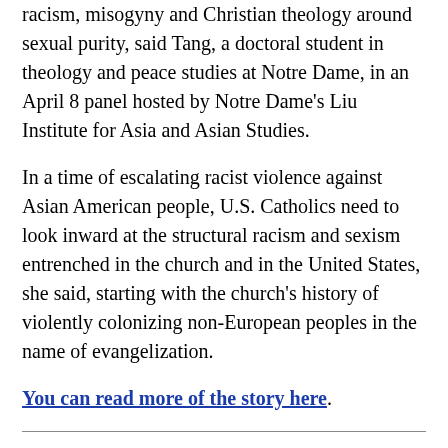racism, misogyny and Christian theology around sexual purity, said Tang, a doctoral student in theology and peace studies at Notre Dame, in an April 8 panel hosted by Notre Dame's Liu Institute for Asia and Asian Studies.
In a time of escalating racist violence against Asian American people, U.S. Catholics need to look inward at the structural racism and sexism entrenched in the church and in the United States, she said, starting with the church's history of violently colonizing non-European peoples in the name of evangelization.
You can read more of the story here.
More headlines
NCR columnist Phyllis Zagano says that